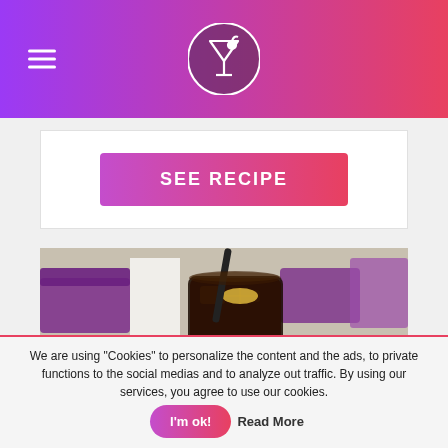[Logo: cocktail glass icon] Navigation bar with hamburger menu
[Figure (other): Purple to pink gradient header bar with hamburger menu icon on the left and a circular cocktail logo in the center]
[Figure (other): White card with a gradient 'SEE RECIPE' button (purple to pink)]
[Figure (photo): Photo of a Cuba Libre cocktail in a glass with a straw and ice, in a bar setting with purple furniture in the background. Caption overlay reads 'Cocktail Cuba Libre']
We are using "Cookies" to personalize the content and the ads, to private functions to the social medias and to analyze out traffic. By using our services, you agree to use our cookies. I'm ok! Read More